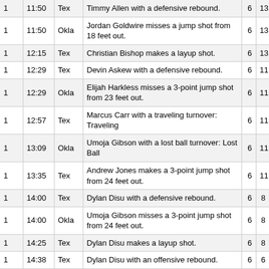| 1 | 11:50 | Tex | Timmy Allen with a defensive rebound. | 6 | 13 |
| 1 | 11:50 | Okla | Jordan Goldwire misses a jump shot from 18 feet out. | 6 | 13 |
| 1 | 12:15 | Tex | Christian Bishop makes a layup shot. | 6 | 13 |
| 1 | 12:29 | Tex | Devin Askew with a defensive rebound. | 6 | 11 |
| 1 | 12:29 | Okla | Elijah Harkless misses a 3-point jump shot from 23 feet out. | 6 | 11 |
| 1 | 12:57 | Tex | Marcus Carr with a traveling turnover: Traveling | 6 | 11 |
| 1 | 13:09 | Okla | Umoja Gibson with a lost ball turnover: Lost Ball | 6 | 11 |
| 1 | 13:35 | Tex | Andrew Jones makes a 3-point jump shot from 24 feet out. | 6 | 11 |
| 1 | 14:00 | Tex | Dylan Disu with a defensive rebound. | 6 | 8 |
| 1 | 14:00 | Okla | Umoja Gibson misses a 3-point jump shot from 24 feet out. | 6 | 8 |
| 1 | 14:25 | Tex | Dylan Disu makes a layup shot. | 6 | 8 |
| 1 | 14:38 | Tex | Dylan Disu with an offensive rebound. | 6 | 6 |
| 1 | 14:38 | Tex | Devin Askew misses a jump shot from 7 feet out. | 6 | 6 |
| 1 | 15:03 | Okla | Ethan Chargois makes free throw 3 of 3. | 6 | 6 |
| 1 | 15:03 | Okla | Ethan Chargois makes free throw 2 of 3. | 5 | 6 |